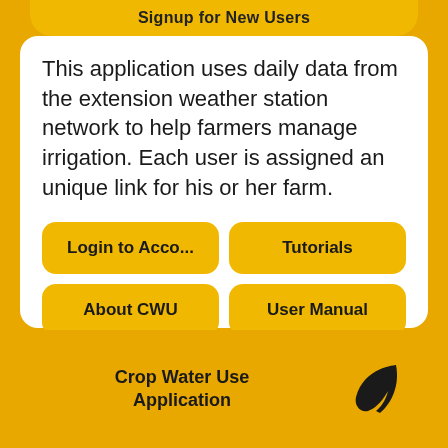Signup for New Users
This application uses daily data from the extension weather station network to help farmers manage irrigation. Each user is assigned an unique link for his or her farm.
Login to Acco...
Tutorials
About CWU
User Manual
Crop Water Use Application